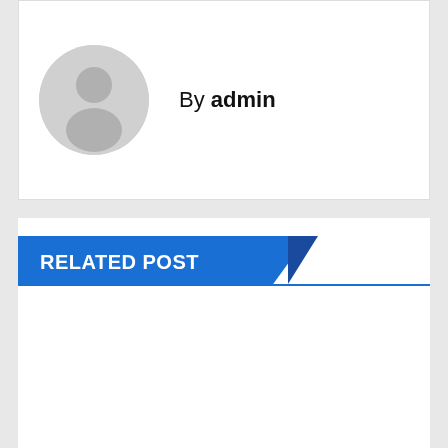[Figure (illustration): Author avatar placeholder — grey circle with silhouette person icon, next to 'By admin' text]
By admin
RELATED POST
[Figure (photo): Blog post thumbnail image with dark overlay. Tags: '2022 GOSPEL SONGS', 'MR M & REVELATION SONGS', 'NIGERIAN GOSPEL SONGS'. Title text: 'DOWNLOAD: Mr M & Revelation – My Defender']